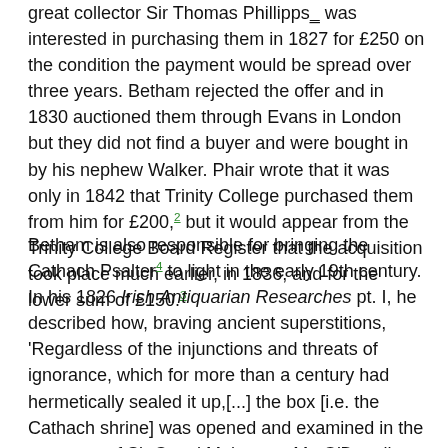great collector Sir Thomas Phillipps_ was interested in purchasing them in 1827 for £250 on the condition the payment would be spread over three years. Betham rejected the offer and in 1830 auctioned them through Evans in London but they did not find a buyer and were bought in by his nephew Walker. Phair wrote that it was only in 1842 that Trinity College purchased them from him for £200,2 but it would appear from the Trinity College Board Register that the acquisition took place much earlier, in 1836, and for the lower sum of £150.3
Betham is also responsible for bringing the Cathach Psalter4 to light in the early 19th century. In his 1826 Irish Antiquarian Researches pt. I, he described how, braving ancient superstitions, 'Regardless of the injunctions and threats of ignorance, which for more than a century had hermetically sealed it up,[...] the box [i.e. the Cathach shrine] was opened and examined in the presence of Sir Capel Molyneux, Mr. O'Donell, and myself, without any extraordinary, or